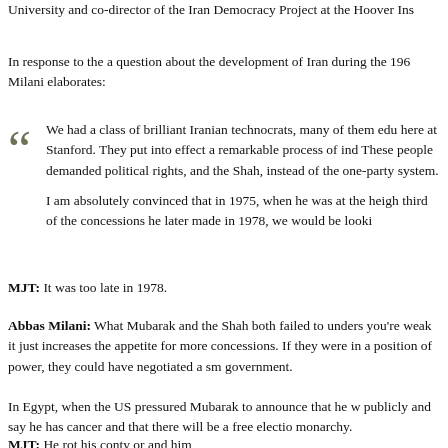University and co-director of the Iran Democracy Project at the Hoover Ins
In response to the a question about the development of Iran during the 196 Milani elaborates:
We had a class of brilliant Iranian technocrats, many of them edu here at Stanford. They put into effect a remarkable process of ind These people demanded political rights, and the Shah, instead of the one-party system.

I am absolutely convinced that in 1975, when he was at the heigh third of the concessions he later made in 1978, we would be looki
MJT: It was too late in 1978.
Abbas Milani: What Mubarak and the Shah both failed to unders you're weak it just increases the appetite for more concessions. If they were in a position of power, they could have negotiated a sm government.

In Egypt, when the US pressured Mubarak to announce that he w publicly and say he has cancer and that there will be a free electio monarchy.
MJT: Herot his conty or and him